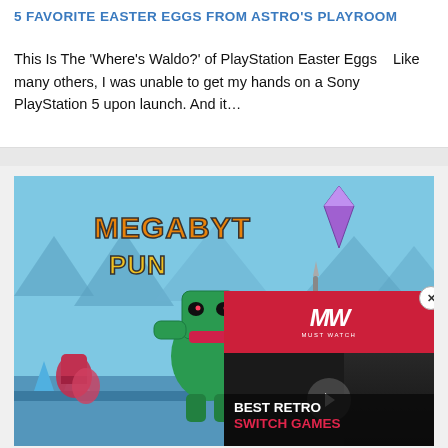5 FAVORITE EASTER EGGS FROM ASTRO'S PLAYROOM
This Is The 'Where's Waldo?' of PlayStation Easter Eggs    Like many others, I was unable to get my hands on a Sony PlayStation 5 upon launch. And it…
[Figure (screenshot): Screenshot of a colorful retro-style video game called Megabyte Punch with green robot characters in a blue environment, overlaid with a video player showing MW (Must Watch) logo with text BEST RETRO SWITCH GAMES]